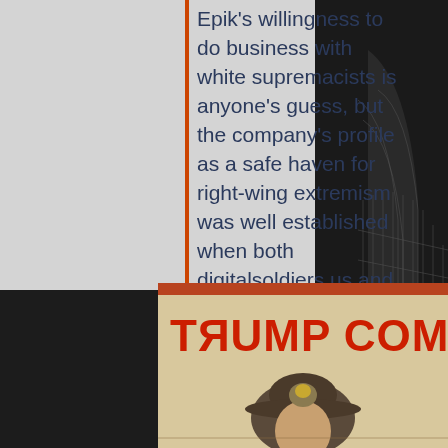Epik's willingness to do business with white supremacists is anyone's guess, but the company's profile as a safe haven for right-wing extremism was well established when both digitalsoldiers.us and UncoverDC.com were set up in 2019.
[Figure (photo): Trump Comrade propaganda-style poster image with bold red text 'TRUMP COMRADE' and a figure wearing a military hat below, on a yellowish background]